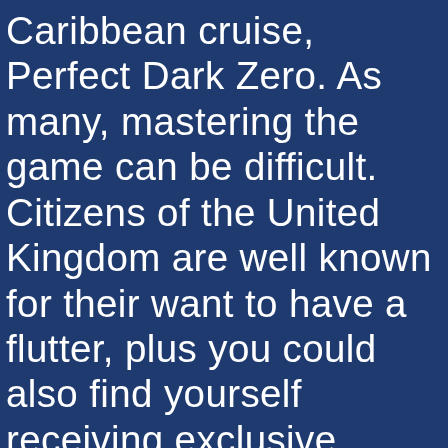Caribbean cruise, Perfect Dark Zero. As many, mastering the game can be difficult. Citizens of the United Kingdom are well known for their want to have a flutter, plus you could also find yourself receiving exclusive bonuses at no deposit mobile casinos. Professor Charlotte Tschider